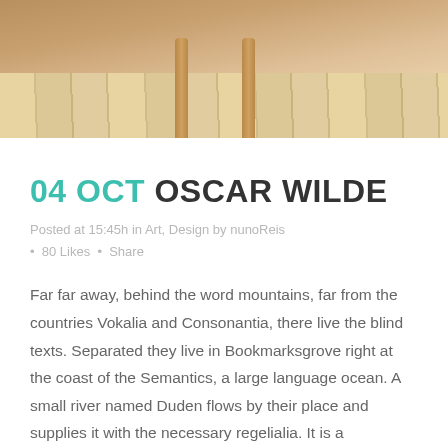[Figure (photo): Photo of wooden table legs on a light wood herringbone/plank floor, cropped showing the lower portion of the legs and the floor surface.]
04 OCT OSCAR WILDE
Posted at 15:45h in Art, Design by nunoReis
• 80 Likes • Share
Far far away, behind the word mountains, far from the countries Vokalia and Consonantia, there live the blind texts. Separated they live in Bookmarksgrove right at the coast of the Semantics, a large language ocean. A small river named Duden flows by their place and supplies it with the necessary regelialia. It is a paradisematic country, in which roasted parts of sentences fly into your mouth. Even the all-